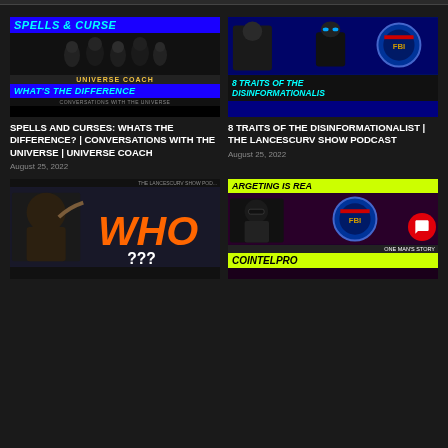[Figure (illustration): Thumbnail for 'Spells & Curses: Whats The Difference?' video by Universe Coach. Blue text banner at top reading 'SPELLS & CURSE', dark background with ghostly figures in middle, yellow 'UNIVERSE COACH' text, blue bottom banner reading 'HATS THE DIFFERENCE', white subtitle 'CONVERSATIONS WITH THE UNIVERSE'.]
SPELLS AND CURSES: WHATS THE DIFFERENCE? | CONVERSATIONS WITH THE UNIVERSE | UNIVERSE COACH
August 25, 2022
[Figure (illustration): Thumbnail for '8 Traits of the Disinformationalist | The LanceScurv Show Podcast'. Man in foreground, animated spy figure with FBI badge, yellow and cyan text at bottom on dark blue diamond-plate background.]
8 TRAITS OF THE DISINFORMATIONALIST | THE LANCESCURV SHOW PODCAST
August 25, 2022
[Figure (illustration): Thumbnail for The LanceScurv Show Podcast. Man pointing, large orange WHO text, question marks, dark background.]
[Figure (illustration): Thumbnail showing 'ARGETING IS REA' in yellow-green text, man in suit with sunglasses, FBI badge, COINTELPRO text at bottom, purple diamond-plate background.]